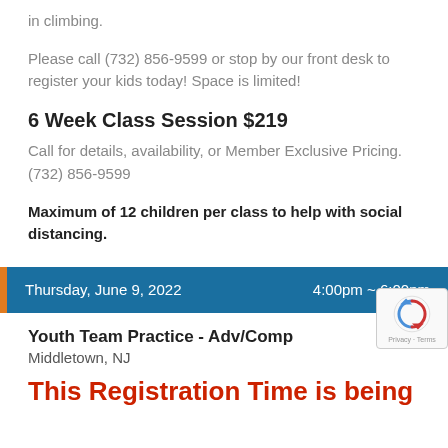in climbing.
Please call (732) 856-9599 or stop by our front desk to register your kids today! Space is limited!
6 Week Class Session $219
Call for details, availability, or Member Exclusive Pricing.
(732) 856-9599
Maximum of 12 children per class to help with social distancing.
Thursday, June 9, 2022   4:00pm ~ 6:00pm
Youth Team Practice - Adv/Comp
Middletown, NJ
This Registration Time is being...